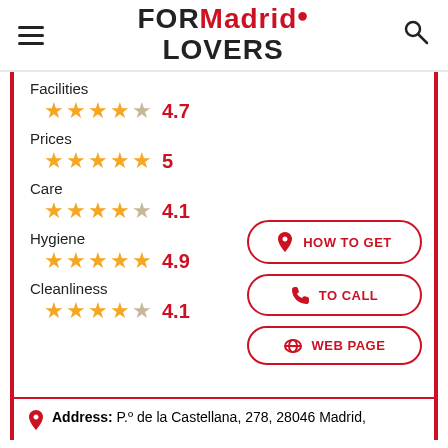FORMadrid LOVERS
Facilities 4.7
Prices 5
Care 4.1
Hygiene 4.9
Cleanliness 4.1
HOW TO GET
TO CALL
WEB PAGE
Address: P.º de la Castellana, 278, 28046 Madrid,